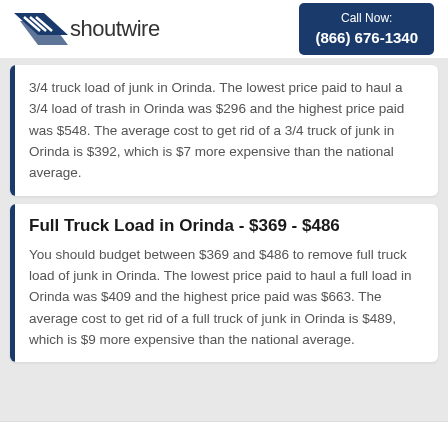shoutwire | Call Now: (866) 676-1340
3/4 truck load of junk in Orinda. The lowest price paid to haul a 3/4 load of trash in Orinda was $296 and the highest price paid was $548. The average cost to get rid of a 3/4 truck of junk in Orinda is $392, which is $7 more expensive than the national average.
Full Truck Load in Orinda - $369 - $486
You should budget between $369 and $486 to remove full truck load of junk in Orinda. The lowest price paid to haul a full load in Orinda was $409 and the highest price paid was $663. The average cost to get rid of a full truck of junk in Orinda is $489, which is $9 more expensive than the national average.